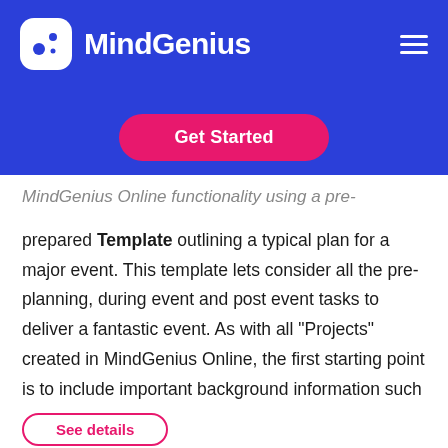[Figure (logo): MindGenius logo: white rounded-square icon with dots on blue background, white text 'MindGenius']
[Figure (other): Pink 'Get Started' rounded button on blue background]
MindGenius Online functionality using a pre-prepared Template outlining a typical plan for a major event. This template lets consider all the pre-planning, during event and post event tasks to deliver a fantastic event. As with all "Projects" created in MindGenius Online, the first starting point is to include important background information such as Objectives and Outcomes, as well as adding other Team Members to collaborate with.
[Figure (other): Partially visible pink outlined rounded button at bottom of page]